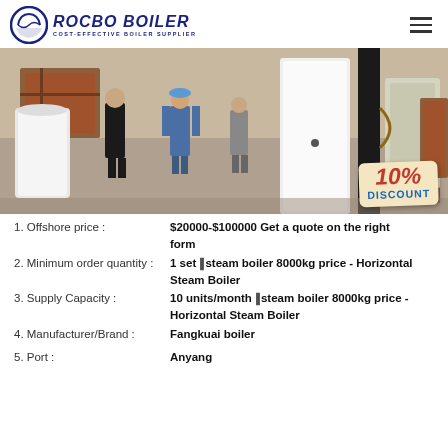ROCBO BOILER - COST-EFFECTIVE BOILER SUPPLIER
[Figure (photo): Warehouse interior showing industrial boilers being inspected; a large white vertical boiler in the center, workers in the background, with a 10% DISCOUNT badge overlay in the bottom-right corner.]
1. Offshore price : $20000-$100000 Get a quote on the right form
2. Minimum order quantity : 1 set ‖steam boiler 8000kg price - Horizontal Steam Boiler
3. Supply Capacity : 10 units/month ‖steam boiler 8000kg price - Horizontal Steam Boiler
4. Manufacturer/Brand : Fangkuai boiler
5. Port : Anyang